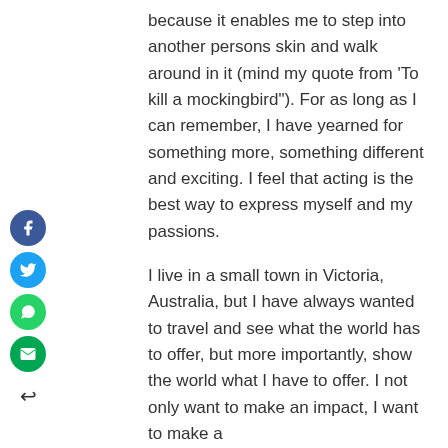because it enables me to step into another persons skin and walk around in it (mind my quote from 'To kill a mockingbird"). For as long as I can remember, I have yearned for something more, something different and exciting. I feel that acting is the best way to express myself and my passions.
I live in a small town in Victoria, Australia, but I have always wanted to travel and see what the world has to offer, but more importantly, show the world what I have to offer. I not only want to make an impact, I want to make a
[Figure (other): Vertical social media sharing sidebar with Facebook (blue circle with 'f'), Twitter (light blue circle with bird icon), WhatsApp (green circle with phone icon), Email (green circle with envelope icon), and a back arrow icon below.]